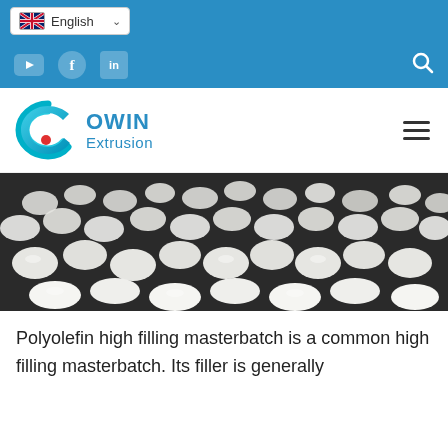English language selector and social media navigation bar (YouTube, Facebook, LinkedIn, Search) on blue background
[Figure (logo): COWIN Extrusion company logo with teal/blue swirl C shape and red dot, text reading OWIN Extrusion in blue]
[Figure (photo): Close-up photo of white polyolefin high filling masterbatch pellets/granules on a dark surface]
Polyolefin high filling masterbatch is a common high filling masterbatch. Its filler is generally